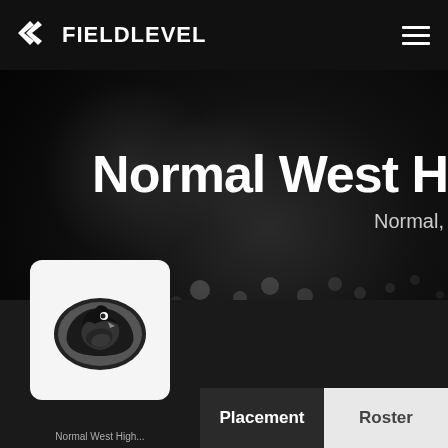FIELDLEVEL
Normal West H
Normal,
[Figure (logo): Normal West High School team logo: stylized hawk/falcon head in black and grey, oval shaped, on white card background]
Placement
Roster
Normal West High...